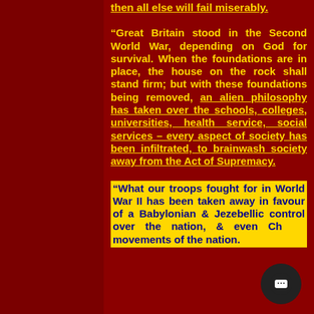then all else will fail miserably.
“Great Britain stood in the Second World War, depending on God for survival. When the foundations are in place, the house on the rock shall stand firm; but with these foundations being removed, an alien philosophy has taken over the schools, colleges, universities, health service, social services – every aspect of society has been infiltrated, to brainwash society away from the Act of Supremacy.
“What our troops fought for in World War II has been taken away in favour of a Babylonian & Jezebellic control over the nation, & even Ch movements of the nation.